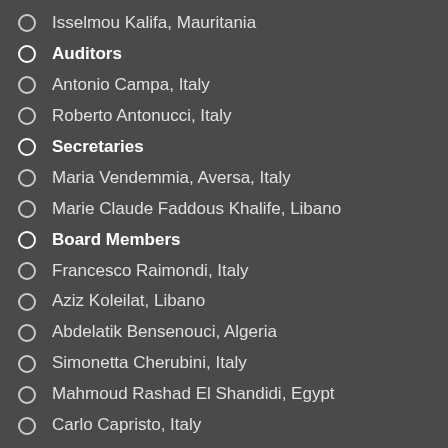Isselmou Kalifa, Mauritania
Auditors
Antonio Campa, Italy
Roberto Antonucci, Italy
Secretaries
Maria Vendemmia, Aversa, Italy
Marie Claude Faddous Khalife, Libano
Board Members
Francesco Raimondi, Italy
Aziz Koleilat, Libano
Abdelatik Bensenouci, Algeria
Simonetta Cherubini, Italy
Mahmoud Rashad El Shandidi, Egypt
Carlo Capristo, Italy